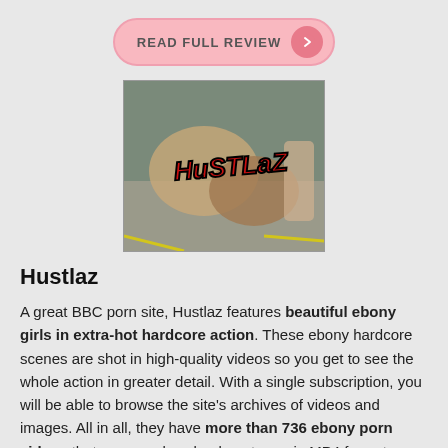READ FULL REVIEW
[Figure (photo): Hustlaz website promotional image with red graffiti-style logo text 'HUSTLAZ']
Hustlaz
A great BBC porn site, Hustlaz features beautiful ebony girls in extra-hot hardcore action. These ebony hardcore scenes are shot in high-quality videos so you get to see the whole action in greater detail. With a single subscription, you will be able to browse the site's archives of videos and images. All in all, they have more than 736 ebony porn videos that you can download or stream in MP4 format. Aside from videos, the site also has 191 image galleries that